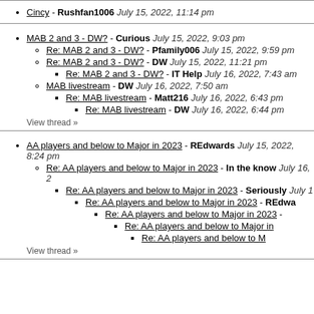Cincy - Rushfan1006 July 15, 2022, 11:14 pm
MAB 2 and 3 - DW? - Curious July 15, 2022, 9:03 pm
Re: MAB 2 and 3 - DW? - Pfamily006 July 15, 2022, 9:59 pm
Re: MAB 2 and 3 - DW? - DW July 15, 2022, 11:21 pm
Re: MAB 2 and 3 - DW? - IT Help July 16, 2022, 7:43 am
MAB livestream - DW July 16, 2022, 7:50 am
Re: MAB livestream - Matt216 July 16, 2022, 6:43 pm
Re: MAB livestream - DW July 16, 2022, 6:44 pm
View thread »
AA players and below to Major in 2023 - REdwards July 15, 2022, 8:24 pm
Re: AA players and below to Major in 2023 - In the know July 16, 2...
Re: AA players and below to Major in 2023 - Seriously July ...
Re: AA players and below to Major in 2023 - REdwa...
Re: AA players and below to Major in 2023 - ...
Re: AA players and below to Major in...
Re: AA players and below to M...
View thread »